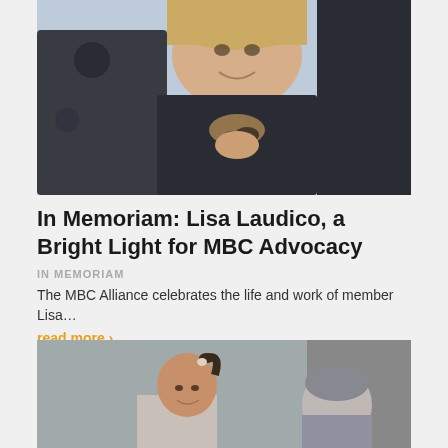[Figure (photo): A smiling woman in a dark jacket holding sunglasses outdoors in bright sunlight, wearing a scarf.]
In Memoriam: Lisa Laudico, a Bright Light for MBC Advocacy
IN MEMORIAM
The MBC Alliance celebrates the life and work of member Lisa...
read more >
[Figure (photo): A woman with a ponytail smiling, wearing workout attire, with another person partially visible.]